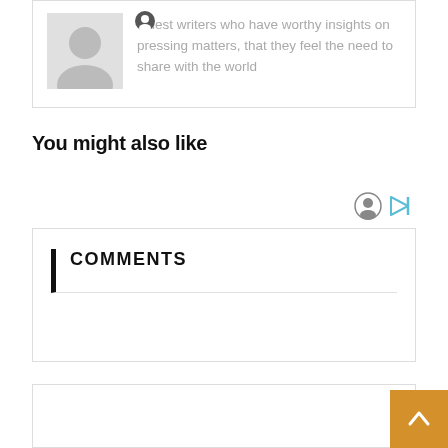[Figure (illustration): Author card with grey avatar placeholder and descriptive text about guest writers]
Guest writers who have worthy insights on pressing matters, that they feel the need to share with the world
You might also like
[Figure (illustration): Two small ad/nav icons: a circular face icon and a play/forward arrow icon]
COMMENTS
[Figure (illustration): Partially visible bottom card and back-to-top orange button with upward arrow]